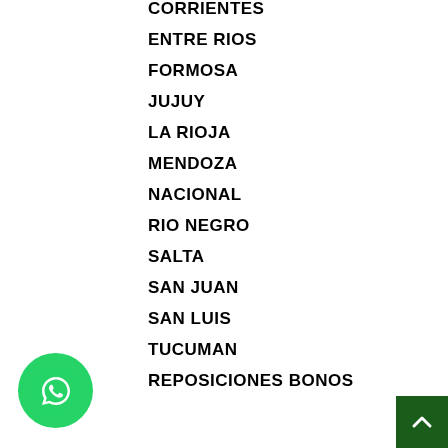CORRIENTES
ENTRE RIOS
FORMOSA
JUJUY
LA RIOJA
MENDOZA
NACIONAL
RIO NEGRO
SALTA
SAN JUAN
SAN LUIS
TUCUMAN
REPOSICIONES BONOS